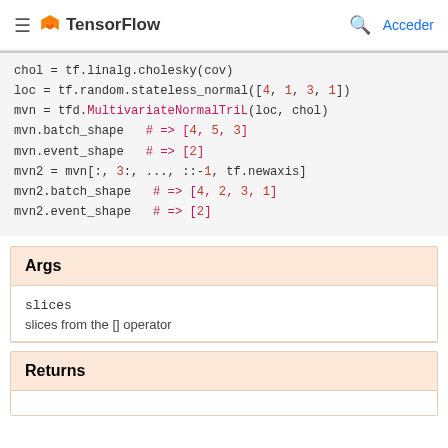TensorFlow — Acceder
[Figure (screenshot): Code block showing TensorFlow Python code with cholesky, stateless_normal, MultivariateNormalTriL, batch_shape, event_shape operations]
Args
slices — slices from the [] operator
Returns